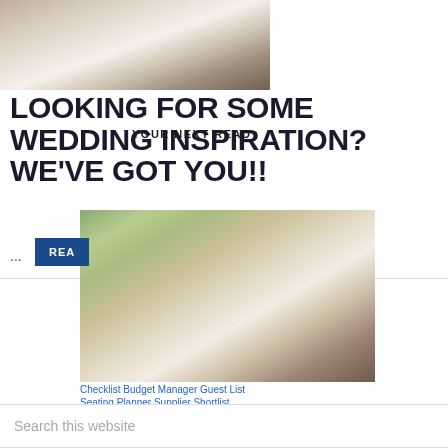[Figure (photo): Wedding couple on outdoor stone steps, bride in white dress, groom in dark suit, top portion cropped]
LOOKING FOR SOME WEDDING INSPIRATION? WE'VE GOT YOU!!
YOUR NEXT READ
...
READ
[Figure (photo): Wedding couple descending elegant stone staircase outdoors, bride in white mermaid gown, groom in tuxedo with white jacket]
Checklist Budget Manager Guest List
Seating Planner Supplier Shortlist
LOOKING FOR SOME WEDDING INSPIRATION? WE'VE GOT YOU!!
Search this website